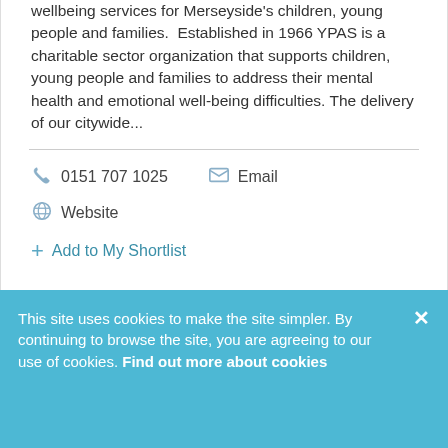wellbeing services for Merseyside's children, young people and families. Established in 1966 YPAS is a charitable sector organization that supports children, young people and families to address their mental health and emotional well-being difficulties. The delivery of our citywide...
0151 707 1025
Email
Website
Add to My Shortlist
This site uses cookies to make the site simpler. By continuing to browse the site, you are agreeing to our use of cookies. Find out more about cookies